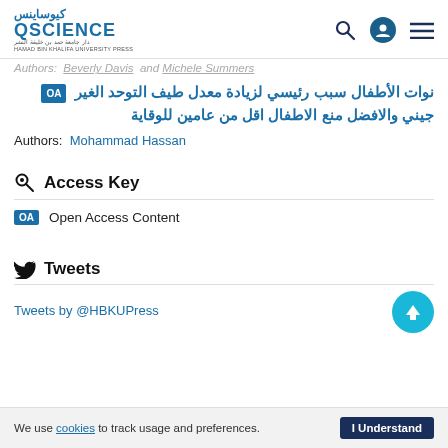كيوساينس QSCIENCE
Authors: Beverly Davis and Michele Summers
نوات الأطفال سبب رئيسي لزيادة معدل طيف التوحد الغير جيني والافضل منع الاطفال اقل من عامين للوقاية
Authors: Mohammad Hassan
Access Key
OA Open Access Content
Tweets
Tweets by @HBKUPress
We use cookies to track usage and preferences. I Understand